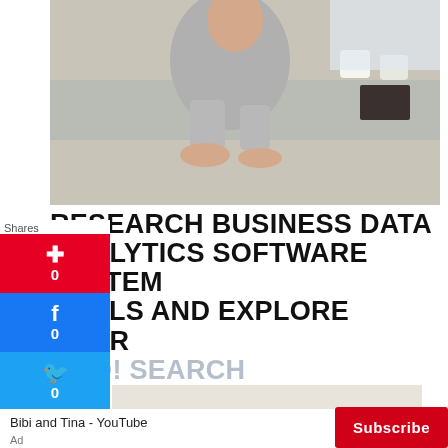[Figure (photo): Woman in grey blazer sitting at glass desk with hands resting, coffee cups and notebook in background]
RESEARCH BUSINESS DATA ANALYTICS SOFTWARE SYSTEM TOOLS AND EXPLORE YOUR HOO! SEARCH
[Figure (photo): Futuristic multi-functional smart bed with speakers, massage chair, storage drawers open, laptop on surface]
Bibi and Tina - YouTube
Ad
[Figure (other): YouTube Subscribe button advertisement banner]